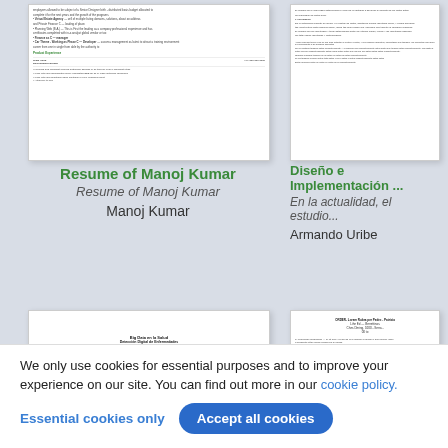[Figure (screenshot): Document thumbnail: Resume of Manoj Kumar - top left card showing resume content]
[Figure (screenshot): Document thumbnail: Diseño e Implementación article - top right card showing Spanish academic text]
Resume of Manoj Kumar
Resume of Manoj Kumar
Manoj Kumar
Diseño e Implementación ...
En la actualidad, el estudio...
Armando Uribe
[Figure (screenshot): Document thumbnail: Big Data en la Salud - bottom left card showing Spanish health data paper]
[Figure (screenshot): Document thumbnail: ORDER document - bottom right card showing legal/administrative document]
We only use cookies for essential purposes and to improve your experience on our site. You can find out more in our cookie policy.
Essential cookies only
Accept all cookies